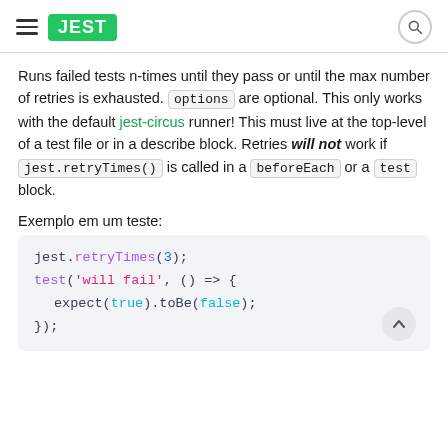JEST
Runs failed tests n-times until they pass or until the max number of retries is exhausted. options are optional. This only works with the default jest-circus runner! This must live at the top-level of a test file or in a describe block. Retries will not work if jest.retryTimes() is called in a beforeEach or a test block.
Exemplo em um teste:
[Figure (screenshot): Code block showing: jest.retryTimes(3); test('will fail', () => { expect(true).toBe(false); });]